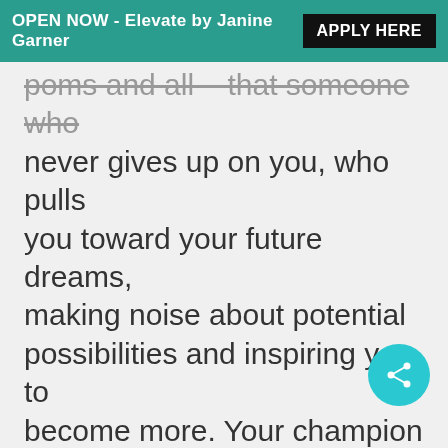OPEN NOW - Elevate by Janine Garner  APPLY HERE
poms and all – that someone who never gives up on you, who pulls you toward your future dreams, making noise about potential possibilities and inspiring you to become more. Your champion is the font of positivity, the person that cheers you on through the tough times and celebrates with vigour in the good. They rave about you, they promote you; make connections and open doors for you. They ditch the negative and fuel up on the positive. They push you towards